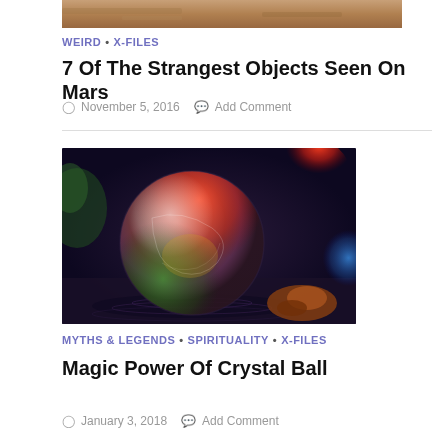[Figure (photo): Top portion of a Mars surface image, cropped at top of page]
WEIRD • X-FILES
7 Of The Strangest Objects Seen On Mars
November 5, 2016  Add Comment
[Figure (photo): A crystal ball with colorful reflections of red, green, and blue lights on a wet surface, photographed up close]
MYTHS & LEGENDS • SPIRITUALITY • X-FILES
Magic Power Of Crystal Ball
January 3, 2018  Add Comment